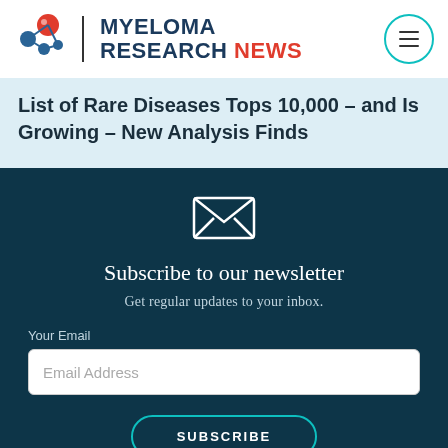MYELOMA RESEARCH NEWS
List of Rare Diseases Tops 10,000 – and Is Growing – New Analysis Finds
[Figure (illustration): Envelope icon (outline/line art, white) representing newsletter/email]
Subscribe to our newsletter
Get regular updates to your inbox.
Your Email
Email Address
SUBSCRIBE